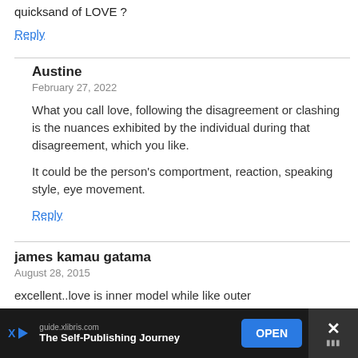quicksand of LOVE ?
Reply
Austine
February 27, 2022
What you call love, following the disagreement or clashing is the nuances exhibited by the individual during that disagreement, which you like.

It could be the person's comportment, reaction, speaking style, eye movement.
Reply
james kamau gatama
August 28, 2015
excellent..love is inner model while like outer
[Figure (screenshot): Advertisement bar at the bottom: guide.xlibris.com - The Self-Publishing Journey, with OPEN button]